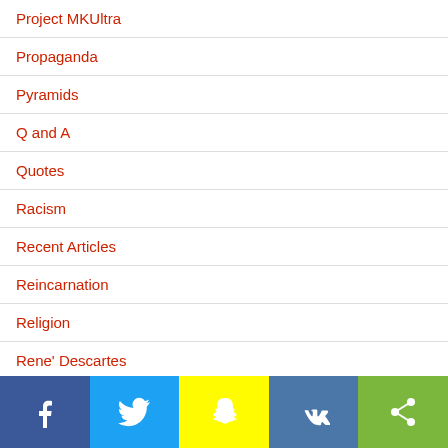Project MKUltra
Propaganda
Pyramids
Q and A
Quotes
Racism
Recent Articles
Reincarnation
Religion
Rene' Descartes
Richard Hoyle
Social share bar: Facebook, Twitter, Snapchat, VK, Share